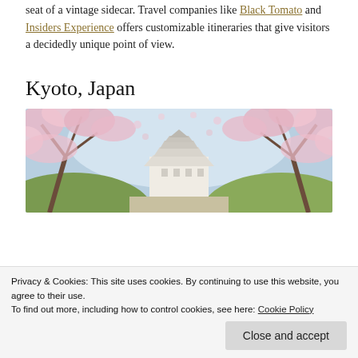seat of a vintage sidecar. Travel companies like Black Tomato and Insiders Experience offers customizable itineraries that give visitors a decidedly unique point of view.
Kyoto, Japan
[Figure (photo): Photo of a Japanese castle (likely Himeji Castle) framed by blooming pink cherry blossom trees with a blue sky in the background.]
Privacy & Cookies: This site uses cookies. By continuing to use this website, you agree to their use.
To find out more, including how to control cookies, see here: Cookie Policy